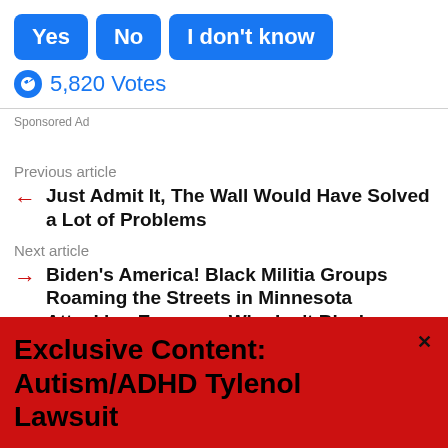[Figure (screenshot): Three blue rounded-rectangle buttons labeled Yes, No, I don't know]
5,820 Votes
Sponsored Ad
Previous article
Just Admit It, The Wall Would Have Solved a Lot of Problems
Next article
Biden's America! Black Militia Groups Roaming the Streets in Minnesota Attacking Everyone Who Isn't Black
Exclusive Content: Autism/ADHD Tylenol Lawsuit